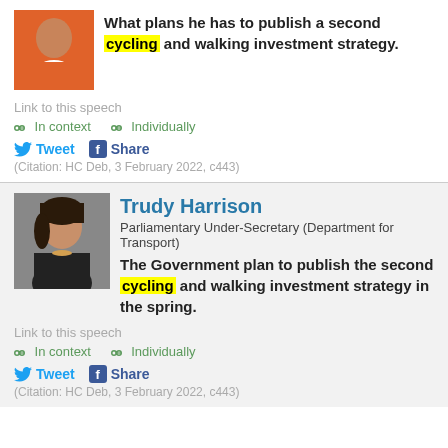[Figure (photo): Portrait photo of a person wearing an orange jacket, top section]
What plans he has to publish a second cycling and walking investment strategy.
Link to this speech
🔗 In context  🔗 Individually
Tweet  Share
(Citation: HC Deb, 3 February 2022, c443)
Trudy Harrison
Parliamentary Under-Secretary (Department for Transport)
[Figure (photo): Portrait photo of Trudy Harrison, a woman with dark hair]
The Government plan to publish the second cycling and walking investment strategy in the spring.
Link to this speech
🔗 In context  🔗 Individually
Tweet  Share
(Citation: HC Deb, 3 February 2022, c443)